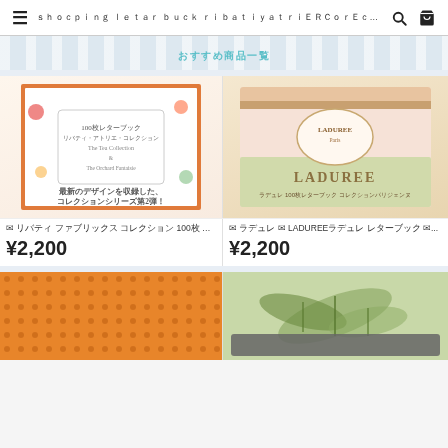≡  ｼｮｯﾋﾟﾝｸﾞ ﾚﾀｰ ﾌﾞｯｸ ﾘﾊﾞﾃｨｰ ｱﾄﾘｴ ｺﾚ ｸ ｼｮﾝ ...  🔍  🛒
おすすめ商品一覧
[Figure (photo): Floral pattern letter book cover - Liberty collection 100 sheet letter book]
✉ リバティ ファブリックス コレクション 100枚 入り レタ...
¥2,200
[Figure (photo): LADUREE branded pink floral pattern letter book box]
✉ ラデュレ ✉ LADUREE ラデュレ レターブック ✉...
¥2,200
[Figure (photo): Orange polka dot texture/paper - bottom left product]
[Figure (photo): Green botanical leaf illustration - bottom right product]